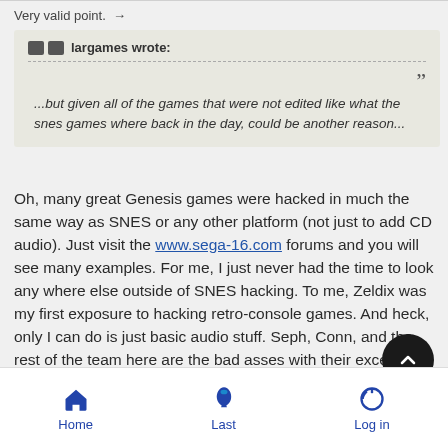Very valid point. →
fiflargames wrote:
...but given all of the games that were not edited like what the snes games where back in the day, could be another reason...
Oh, many great Genesis games were hacked in much the same way as SNES or any other platform (not just to add CD audio). Just visit the www.sega-16.com forums and you will see many examples. For me, I just never had the time to look any where else outside of SNES hacking. To me, Zeldix was my first exposure to hacking retro-console games. And heck, only I can do is just basic audio stuff. Seph, Conn, and the rest of the team here are the bad asses with their excellent assembly skills beyond just audio. I tip my hat to them.
Home   Last   Log in